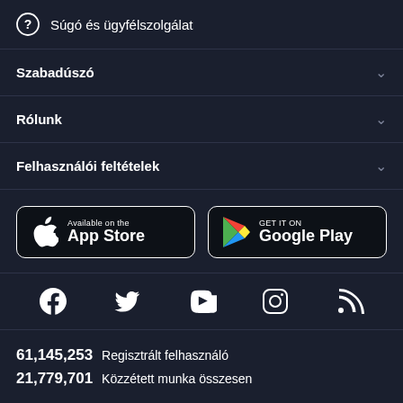Súgó és ügyfélszolgálat
Szabadúszó
Rólunk
Felhasználói feltételek
[Figure (screenshot): App Store and Google Play download buttons]
[Figure (screenshot): Social media icons: Facebook, Twitter, YouTube, Instagram, RSS]
61,145,253  Regisztrált felhasználó
21,779,701  Közzétett munka összesen